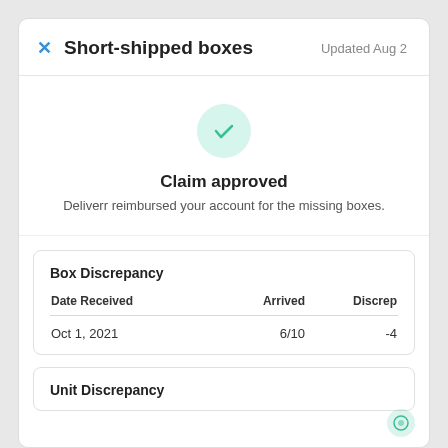Short-shipped boxes   Updated Aug 2
Claim approved
Deliverr reimbursed your account for the missing boxes.
| Box Discrepancy |  |  |
| --- | --- | --- |
| Date Received | Arrived | Discrep |
| Oct 1, 2021 | 6/10 | -4 |
Unit Discrepancy